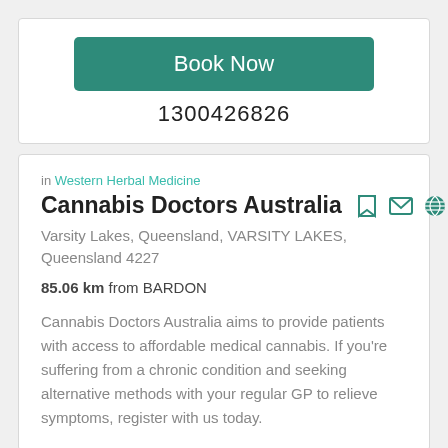Book Now
1300426826
in Western Herbal Medicine
Cannabis Doctors Australia
Varsity Lakes, Queensland, VARSITY LAKES, Queensland 4227
85.06 km from BARDON
Cannabis Doctors Australia aims to provide patients with access to affordable medical cannabis. If you're suffering from a chronic condition and seeking alternative methods with your regular GP to relieve symptoms, register with us today.